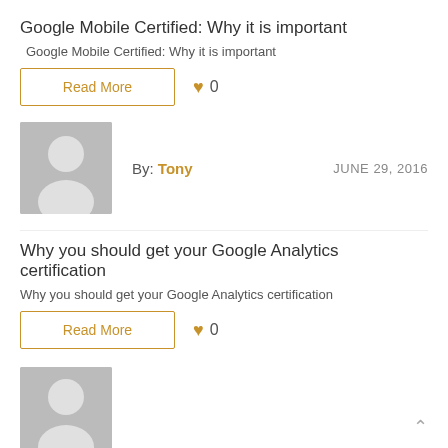Google Mobile Certified: Why it is important
Google Mobile Certified: Why it is important
Read More  ♥ 0
By: Tony  JUNE 29, 2016
Why you should get your Google Analytics certification
Why you should get your Google Analytics certification
Read More  ♥ 0